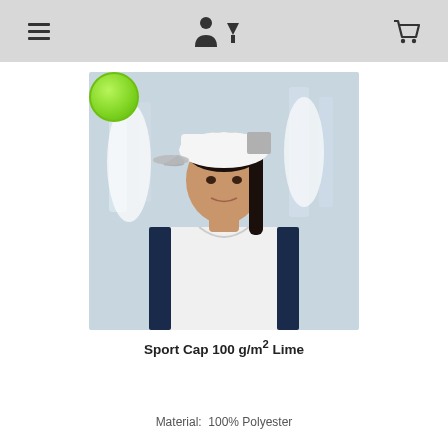Navigation bar with hamburger menu, user/download icon, and cart icon
[Figure (photo): Woman wearing a white sport cap with grey brim, standing near sailboats. A lime green color swatch circle overlays the top-left of the image.]
Sport Cap 100 g/m² Lime
Material:  100% Polyester